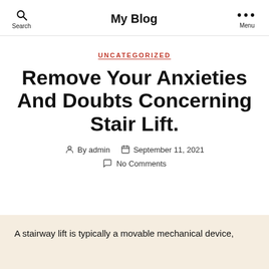My Blog | Search | Menu
UNCATEGORIZED
Remove Your Anxieties And Doubts Concerning Stair Lift.
By admin   September 11, 2021   No Comments
A stairway lift is typically a movable mechanical device,